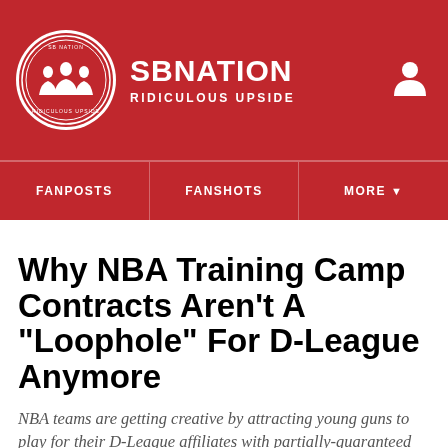SBNATION RIDICULOUS UPSIDE
FANPOSTS | FANSHOTS | MORE
Why NBA Training Camp Contracts Aren't A "Loophole" For D-League Anymore
NBA teams are getting creative by attracting young guns to play for their D-League affiliates with partially-guaranteed pacts on the big league level first, but it shouldn't be considered a loophole.